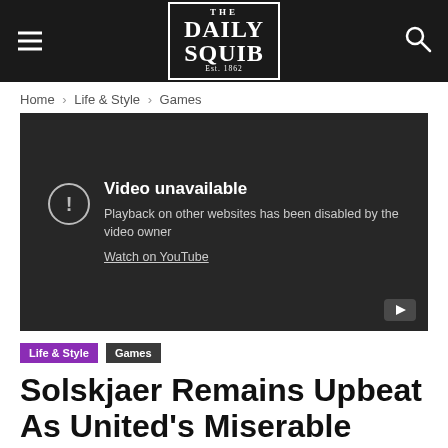THE DAILY SQUIB Est. 1862
Home › Life & Style › Games
[Figure (screenshot): YouTube embedded video player showing 'Video unavailable – Playback on other websites has been disabled by the video owner. Watch on YouTube']
Life & Style   Games
Solskjaer Remains Upbeat As United's Miserable Summer Continues